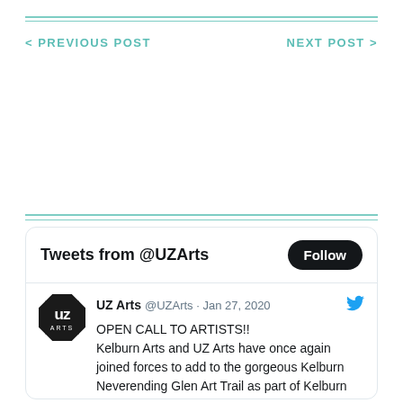< PREVIOUS POST    NEXT POST >
[Figure (screenshot): Twitter widget showing tweets from @UZArts with a Follow button and a tweet from UZ Arts dated Jan 27, 2020 about an open call to artists for Kelburn Garden Party 2020.]